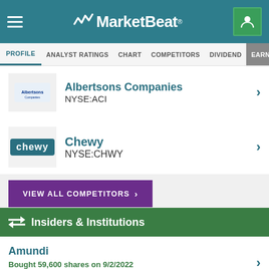MarketBeat
PROFILE | ANALYST RATINGS | CHART | COMPETITORS | DIVIDEND | EARNINGS
Albertsons Companies NYSE:ACI
Chewy NYSE:CHWY
VIEW ALL COMPETITORS >
Insiders & Institutions
Amundi
Bought 59,600 shares on 9/2/2022
Ownership: 0.273%